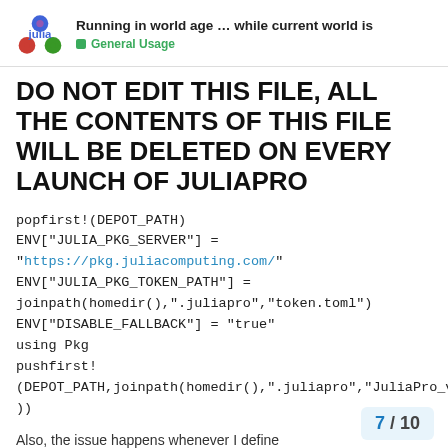Running in world age … while current world is — General Usage
DO NOT EDIT THIS FILE, ALL THE CONTENTS OF THIS FILE WILL BE DELETED ON EVERY LAUNCH OF JULIAPRO
popfirst!(DEPOT_PATH)
ENV["JULIA_PKG_SERVER"] = "https://pkg.juliacomputing.com/"
ENV["JULIA_PKG_TOKEN_PATH"] = joinpath(homedir(),".juliapro","token.toml")
ENV["DISABLE_FALLBACK"] = "true"
using Pkg
pushfirst!(DEPOT_PATH,joinpath(homedir(),".juliapro","JuliaPro_v1.1.0.1"))
Also, the issue happens whenever I define inside a function. Does that make sense?
7 / 10